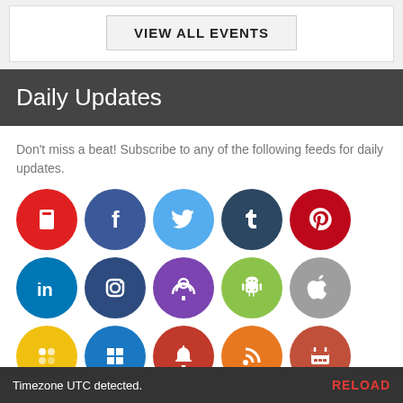VIEW ALL EVENTS
Daily Updates
Don't miss a beat! Subscribe to any of the following feeds for daily updates.
[Figure (infographic): Grid of 15 social media and subscription icons: RSS/bookmark (red), Facebook (dark blue), Twitter (light blue), Tumblr (dark blue-grey), Pinterest (dark red), LinkedIn (blue), Instagram (dark blue), Podcast (purple), Android (green), Apple (grey), Google (yellow), Windows (blue), Notifications (red), RSS (orange), Calendar (red-orange)]
Timezone UTC detected.   RELOAD